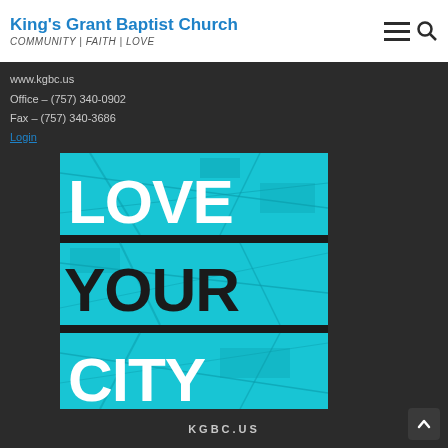King's Grant Baptist Church | COMMUNITY | FAITH | LOVE
www.kgbc.us
Office – (757) 340-0902
Fax – (757) 340-3686
Login
[Figure (illustration): Promotional banner image with a cyan/turquoise city map background showing three horizontal sections with bold white text reading LOVE, YOUR, CITY and KGBC.US at the bottom]
KGBC.US